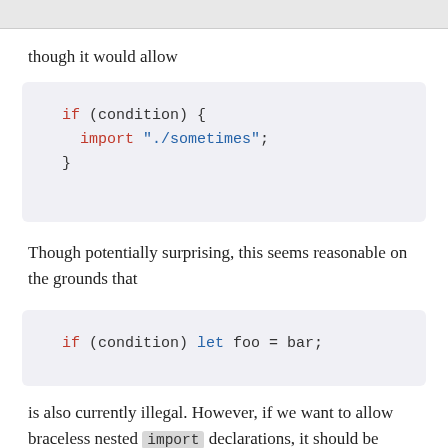though it would allow
[Figure (screenshot): Code block showing: if (condition) { import "./sometimes"; }]
Though potentially surprising, this seems reasonable on the grounds that
[Figure (screenshot): Code block showing: if (condition) let foo = bar;]
is also currently illegal. However, if we want to allow braceless nested import declarations, it should be possible to modify